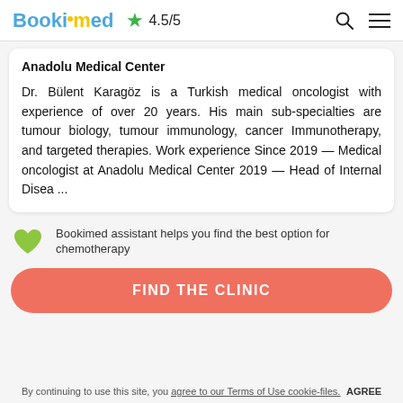Bookimed ★ 4.5/5
Anadolu Medical Center
Dr. Bülent Karagöz is a Turkish medical oncologist with experience of over 20 years. His main sub-specialties are tumour biology, tumour immunology, cancer Immunotherapy, and targeted therapies. Work experience Since 2019 — Medical oncologist at Anadolu Medical Center 2019 — Head of Internal Disea ...
Bookimed assistant helps you find the best option for chemotherapy
FIND THE CLINIC
By continuing to use this site, you agree to our Terms of Use cookie-files. AGREE